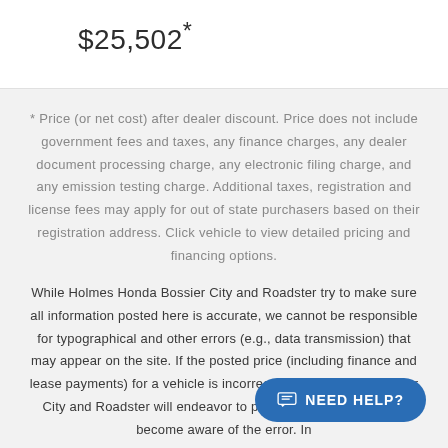$25,502*
* Price (or net cost) after dealer discount. Price does not include government fees and taxes, any finance charges, any dealer document processing charge, any electronic filing charge, and any emission testing charge. Additional taxes, registration and license fees may apply for out of state purchasers based on their registration address. Click vehicle to view detailed pricing and financing options.
While Holmes Honda Bossier City and Roadster try to make sure all information posted here is accurate, we cannot be responsible for typographical and other errors (e.g., data transmission) that may appear on the site. If the posted price (including finance and lease payments) for a vehicle is incorrect, Holmes Honda Bossier City and Roadster will endeavor to provide you w... soon as we become aware of the error. In ...